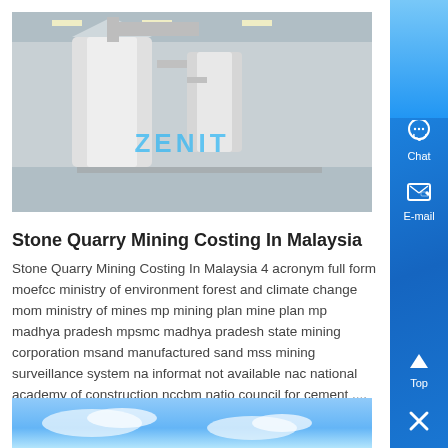[Figure (photo): Industrial machinery photo showing large processing equipment (vertical mill/scrubber) in a warehouse/factory setting. Watermark text 'ZENIT' visible.]
Stone Quarry Mining Costing In Malaysia
Stone Quarry Mining Costing In Malaysia 4 acronym full form moefcc ministry of environment forest and climate change mom ministry of mines mp mining plan mine plan mp madhya pradesh mpsmc madhya pradesh state mining corporation msand manufactured sand mss mining surveillance system na information not available nac national academy of construction nccbm national council for cement ,...
Know More
[Figure (photo): Outdoor photo showing open sky with clouds, partial view at bottom of page.]